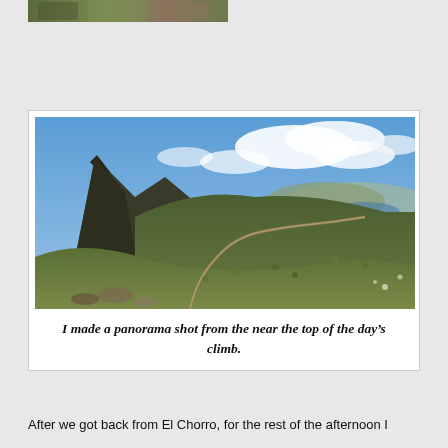[Figure (photo): Partial view of a small outdoor photo thumbnail at top of page, showing rocky terrain or mountain vegetation.]
[Figure (photo): Panoramic landscape photograph taken from near the top of a mountain climb. Shows a rocky peak on the left, a winding dirt road/trail through scrubby hillside vegetation in the center, and a reservoir or lake visible in the distance under a partly cloudy blue sky.]
I made a panorama shot from the near the top of the day's climb.
After we got back from El Chorro, for the rest of the afternoon I